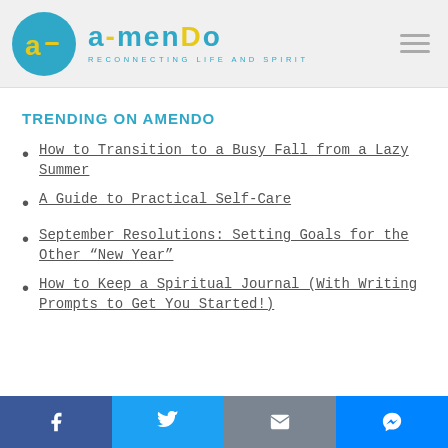[Figure (logo): Amendo logo with teal circle containing yellow 'a' letter, teal 'amendo' wordmark, and tagline 'RECONNECTING LIFE AND SPIRIT']
TRENDING ON AMENDO
How to Transition to a Busy Fall from a Lazy Summer
A Guide to Practical Self-Care
September Resolutions: Setting Goals for the Other “New Year”
How to Keep a Spiritual Journal (With Writing Prompts to Get You Started!)
Social share bar: Facebook, Twitter, Email, Messenger